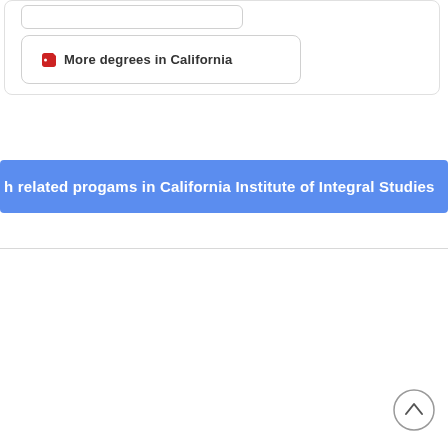More degrees in California
h related progams in California Institute of Integral Studies
[Figure (other): Scroll-to-top circular button icon with upward chevron arrow]